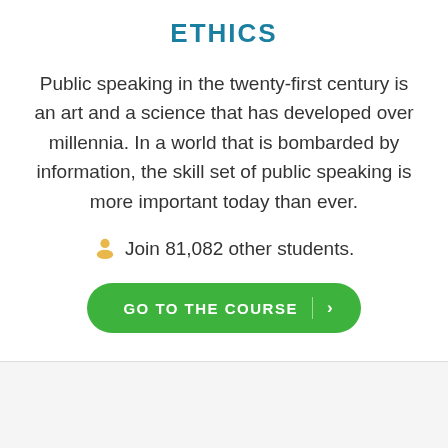ETHICS
Public speaking in the twenty-first century is an art and a science that has developed over millennia. In a world that is bombarded by information, the skill set of public speaking is more important today than ever.
Join 81,082 other students.
[Figure (other): Green 'GO TO THE COURSE' button with right arrow icon]